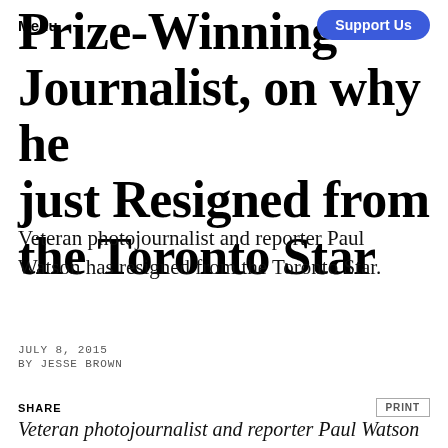Menu | Support Us
Prize-Winning Journalist, on why he just Resigned from the Toronto Star
Veteran photojournalist and reporter Paul Watson has resigned from the Toronto Star.
JULY 8, 2015
BY JESSE BROWN
SHARE | PRINT
Veteran photojournalist and reporter Paul Watson has resigned from the